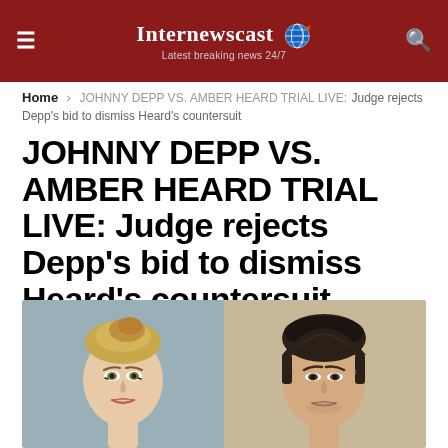Internewscast — Latest breaking news 24/7
Home > JOHNNY DEPP VS. AMBER HEARD TRIAL LIVE: Judge rejects Depp's bid to dismiss Heard's countersuit
JOHNNY DEPP VS. AMBER HEARD TRIAL LIVE: Judge rejects Depp's bid to dismiss Heard's countersuit
[Figure (photo): Side-by-side photos of Amber Heard (left, blonde hair in updo) and Johnny Depp (right, dark slicked-back hair), cropped from shoulders up.]